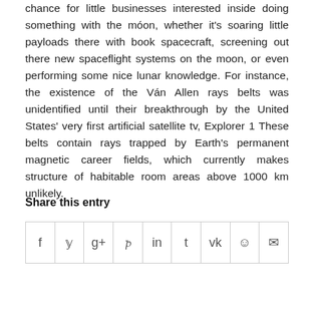chance for little businesses interested inside doing something with the moon, whether it's soaring little payloads there with book spacecraft, screening out there new spaceflight systems on the moon, or even performing some nice lunar knowledge. For instance, the existence of the Ván Allen rays belts was unidentified until their breakthrough by the United States' very first artificial satellite tv, Explorer 1 These belts contain rays trapped by Earth's permanent magnetic career fields, which currently makes structure of habitable room areas above 1000 km unlikely.
Share this entry
[Figure (other): Social share buttons row: Facebook (f), Twitter (bird/y), Google+ (g+), Pinterest (p), LinkedIn (in), Tumblr (t), VK (vk), Reddit (alien icon), Email (envelope)]